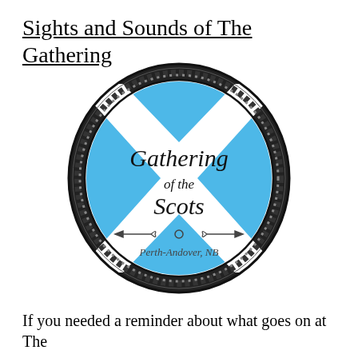Sights and Sounds of The Gathering
[Figure (logo): Oval Celtic knotwork border enclosing a Scottish Saltire (blue and white diagonal cross) with the text 'Gathering of the Scots' in decorative font and 'Perth-Andover, NB' beneath a decorative sword/arrow motif]
If you needed a reminder about what goes on at The